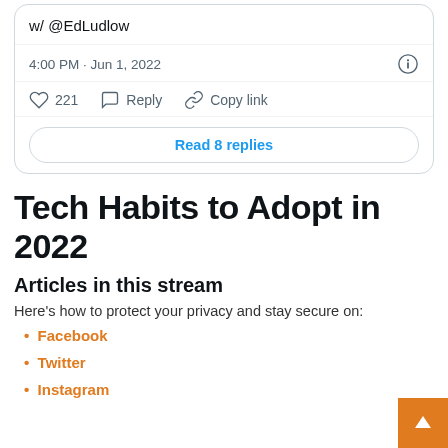w/ @EdLudlow
4:00 PM · Jun 1, 2022
221  Reply  Copy link
Read 8 replies
Tech Habits to Adopt in 2022
Articles in this stream
Here's how to protect your privacy and stay secure on:
Facebook
Twitter
Instagram